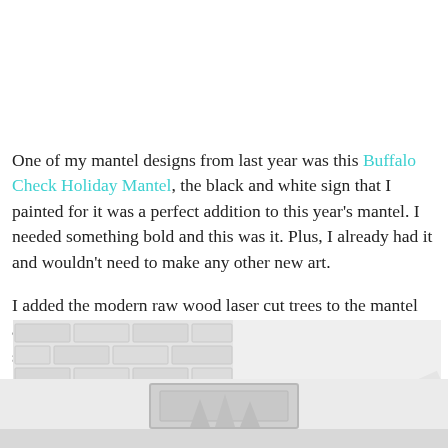One of my mantel designs from last year was this Buffalo Check Holiday Mantel, the black and white sign that I painted for it was a perfect addition to this year's mantel. I needed something bold and this was it. Plus, I already had it and wouldn't need to make any other new art.

I added the modern raw wood laser cut trees to the mantel and the hearth of the fireplace, I found these at target's dollar spot last year.
[Figure (photo): Photo of a white brick fireplace mantel, light and airy, showing the upper portion of the fireplace surround with white brick and a mantel shelf.]
[Figure (photo): Photo of a holiday mantel display, partially visible at the bottom of the page, showing decorative elements on a white fireplace mantel.]